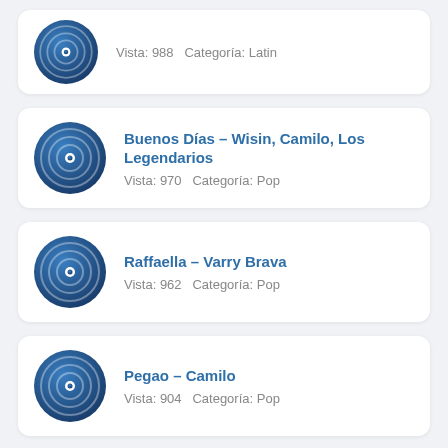Vista: 988   Categoría: Latin
Buenos Días – Wisin, Camilo, Los Legendarios
Vista: 970   Categoría: Pop
Raffaella – Varry Brava
Vista: 962   Categoría: Pop
Pegao – Camilo
Vista: 904   Categoría: Pop
(partial card)